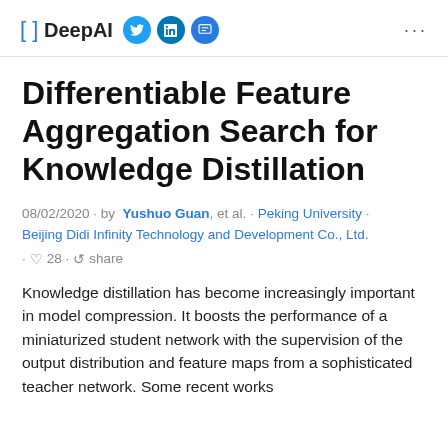[ ] DeepAI
Differentiable Feature Aggregation Search for Knowledge Distillation
08/02/2020 · by Yushuo Guan, et al. · Peking University · Beijing Didi Infinity Technology and Development Co., Ltd.
· ♡ 28 · share
Knowledge distillation has become increasingly important in model compression. It boosts the performance of a miniaturized student network with the supervision of the output distribution and feature maps from a sophisticated teacher network. Some recent works